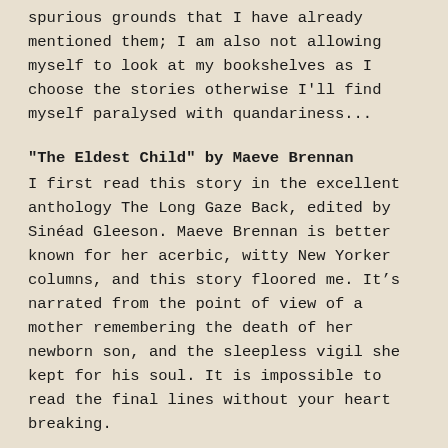spurious grounds that I have already mentioned them; I am also not allowing myself to look at my bookshelves as I choose the stories otherwise I'll find myself paralysed with quandariness...
"The Eldest Child" by Maeve Brennan
I first read this story in the excellent anthology The Long Gaze Back, edited by Sinéad Gleeson. Maeve Brennan is better known for her acerbic, witty New Yorker columns, and this story floored me. It's narrated from the point of view of a mother remembering the death of her newborn son, and the sleepless vigil she kept for his soul. It is impossible to read the final lines without your heart breaking.
"Sleepwalking" by Amy Bloom